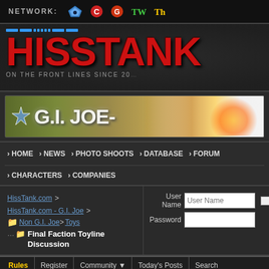NETWORK:
[Figure (screenshot): HissTank.com logo with red text on dark background, tagline 'ON THE FRONT LINES SINCE 20']
[Figure (photo): GI Joe banner advertisement showing camouflage pattern and action figure]
› HOME › NEWS › PHOTO SHOOTS › DATABASE › FORUM › CHARACTERS › COMPANIES
HissTank.com > HissTank.com - G.I. Joe > Non G.I. Joe > Toys
Final Faction Toyline Discussion
User Name  Password  Remember Me?  Log in
Rules   Register   Community   Today's Posts   Search